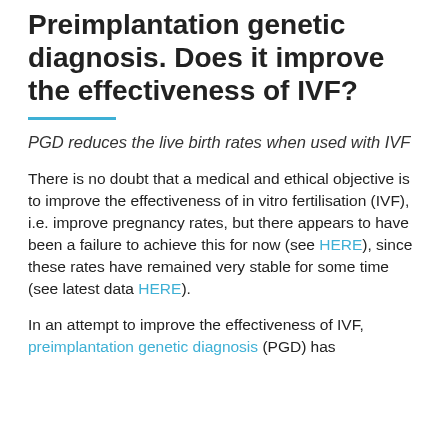Preimplantation genetic diagnosis. Does it improve the effectiveness of IVF?
PGD reduces the live birth rates when used with IVF
There is no doubt that a medical and ethical objective is to improve the effectiveness of in vitro fertilisation (IVF), i.e. improve pregnancy rates, but there appears to have been a failure to achieve this for now (see HERE), since these rates have remained very stable for some time (see latest data HERE).
In an attempt to improve the effectiveness of IVF, preimplantation genetic diagnosis (PGD) has